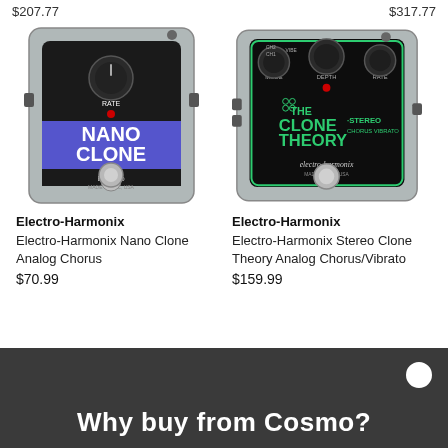$207.77    $317.77
[Figure (photo): Electro-Harmonix Nano Clone guitar effects pedal - silver enclosure with black face, blue accent, NANO CLONE text]
Electro-Harmonix
Electro-Harmonix Nano Clone Analog Chorus
$70.99
[Figure (photo): Electro-Harmonix Stereo Clone Theory guitar effects pedal - silver enclosure with black face, green accent text THE CLONE STEREO THEORY CHORUS VIBRATO]
Electro-Harmonix
Electro-Harmonix Stereo Clone Theory Analog Chorus/Vibrato
$159.99
Why buy from Cosmo?